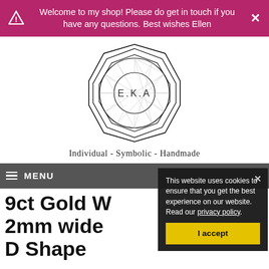Welcome to my shop! Please do get in touch if you have any questions. Best wishes Ellen
[Figure (logo): E.K.A geometric logo with octagonal and circular patterns, text 'E.K.A' in center]
Individual - Symbolic - Handmade
MENU
This website uses cookies to ensure that you get the best experience on our website. Read our privacy policy.
I accept
9ct Gold Wedding ring 2mm wide D Shaped - Smooth Polished